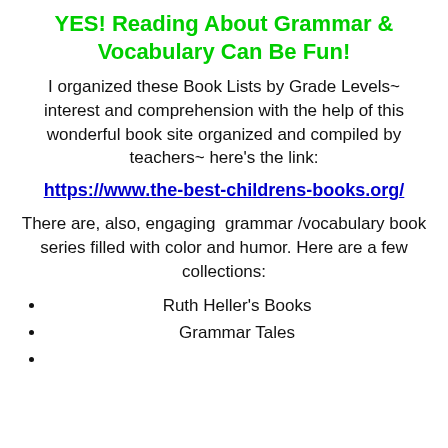YES! Reading About Grammar & Vocabulary Can Be Fun!
I organized these Book Lists by Grade Levels~ interest and comprehension with the help of this wonderful book site organized and compiled by teachers~ here’s the link:
https://www.the-best-childrens-books.org/
There are, also, engaging grammar /vocabulary book series filled with color and humor. Here are a few collections:
Ruth Heller’s Books
Grammar Tales